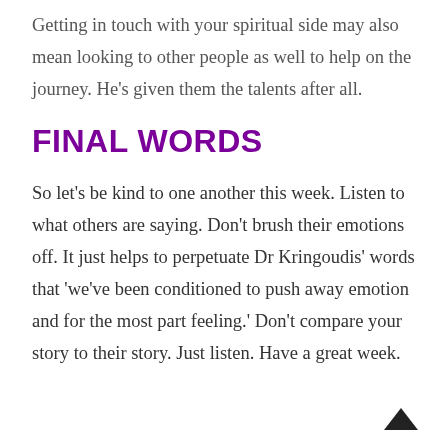Getting in touch with your spiritual side may also mean looking to other people as well to help on the journey. He's given them the talents after all.
FINAL WORDS
So let's be kind to one another this week. Listen to what others are saying. Don't brush their emotions off. It just helps to perpetuate Dr Kringoudis' words that 'we've been conditioned to push away emotion and for the most part feeling.' Don't compare your story to their story. Just listen. Have a great week.